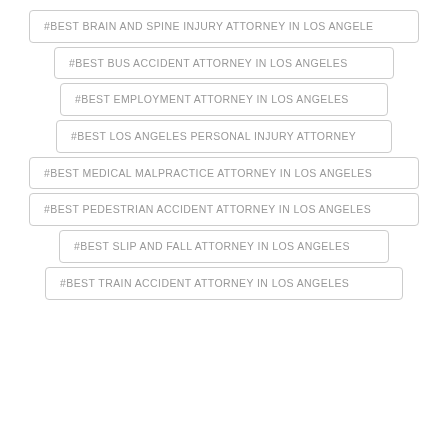#BEST BRAIN AND SPINE INJURY ATTORNEY IN LOS ANGELE
#BEST BUS ACCIDENT ATTORNEY IN LOS ANGELES
#BEST EMPLOYMENT ATTORNEY IN LOS ANGELES
#BEST LOS ANGELES PERSONAL INJURY ATTORNEY
#BEST MEDICAL MALPRACTICE ATTORNEY IN LOS ANGELES
#BEST PEDESTRIAN ACCIDENT ATTORNEY IN LOS ANGELES
#BEST SLIP AND FALL ATTORNEY IN LOS ANGELES
#BEST TRAIN ACCIDENT ATTORNEY IN LOS ANGELES